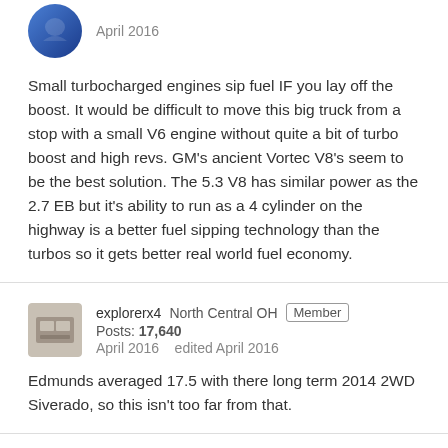April 2016
Small turbocharged engines sip fuel IF you lay off the boost. It would be difficult to move this big truck from a stop with a small V6 engine without quite a bit of turbo boost and high revs. GM's ancient Vortec V8's seem to be the best solution. The 5.3 V8 has similar power as the 2.7 EB but it's ability to run as a 4 cylinder on the highway is a better fuel sipping technology than the turbos so it gets better real world fuel economy.
explorerx4  North Central OH  Member  Posts: 17,640  April 2016  edited April 2016
Edmunds averaged 17.5 with there long term 2014 2WD Siverado, so this isn't too far from that.
bassracerx  Member  Posts: 188  April 2016